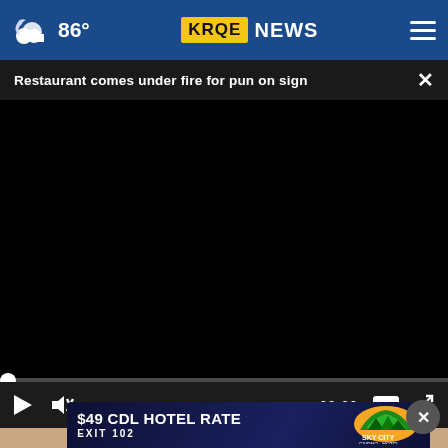86° KRQE NEWS
Restaurant comes under fire for pun on sign
[Figure (screenshot): Black video player area showing a video at 00:00 with play button, mute button, and fullscreen controls on dark control bar]
[Figure (other): Advertisement banner: $49 CDL HOTEL RATE EXIT 102 - Sky City Casino Hotel]